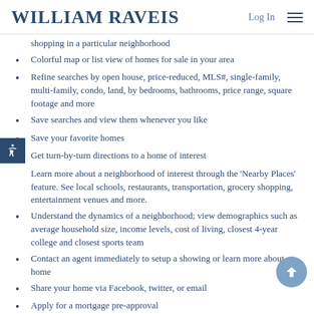WILLIAM RAVEIS  Log In  ☰
shopping in a particular neighborhood
Colorful map or list view of homes for sale in your area
Refine searches by open house, price-reduced, MLS#, single-family, multi-family, condo, land, by bedrooms, bathrooms, price range, square footage and more
Save searches and view them whenever you like
Save your favorite homes
Get turn-by-turn directions to a home of interest
Learn more about a neighborhood of interest through the 'Nearby Places' feature. See local schools, restaurants, transportation, grocery shopping, entertainment venues and more.
Understand the dynamics of a neighborhood; view demographics such as average household size, income levels, cost of living, closest 4-year college and closest sports team
Contact an agent immediately to setup a showing or learn more about a home
Share your home via Facebook, twitter, or email
Apply for a mortgage pre-approval
Receive pricing, content and other updates...